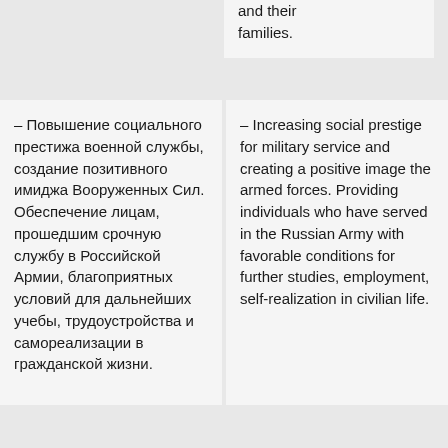and their families.
– Повышение социального престижа военной службы, создание позитивного имиджа Вооруженных Сил. Обеспечение лицам, прошедшим срочную службу в Российской Армии, благоприятных условий для дальнейших учебы, трудоустройства и самореализации в гражданской жизни.
– Increasing social prestige for military service and creating a positive image the armed forces. Providing individuals who have served in the Russian Army with favorable conditions for further studies, employment, self-realization in civilian life.